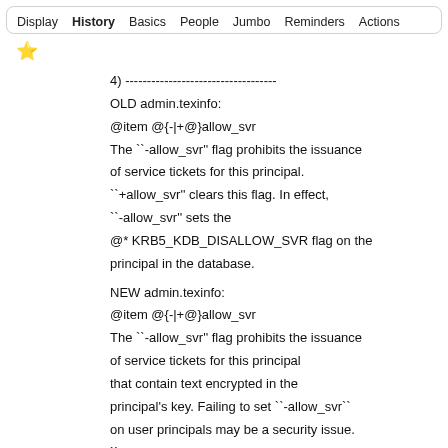Display  History  Basics  People  Jumbo  Reminders  Actions
4) -----------------------------------
OLD admin.texinfo:
@item @{-|+@}allow_svr
The ``-allow_svr'' flag prohibits the issuance of service tickets for this principal.
``+allow_svr'' clears this flag. In effect, ``-allow_svr'' sets the
@* KRB5_KDB_DISALLOW_SVR flag on the principal in the database.

NEW admin.texinfo:
@item @{-|+@}allow_svr
The ``-allow_svr'' flag prohibits the issuance of service tickets for this principal that contain text encrypted in the principal's key. Failing to set ``-allow_svr`` on user principals may be a security issue. ``+allow_svr'' clears this flag. In effect, ``-allow_svr'' sets the
@* KRB5_KDB_DISALLOW_SVR flag on the principal in the database.